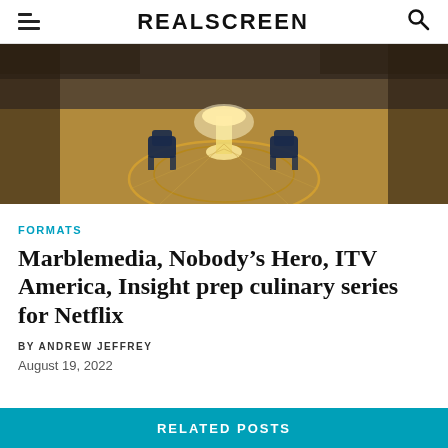REALSCREEN
[Figure (photo): Interior dining space with a round table, glowing lamp, blue chairs, and decorative circular floor pattern on wooden flooring]
FORMATS
Marblemedia, Nobody's Hero, ITV America, Insight prep culinary series for Netflix
BY ANDREW JEFFREY
August 19, 2022
RELATED POSTS